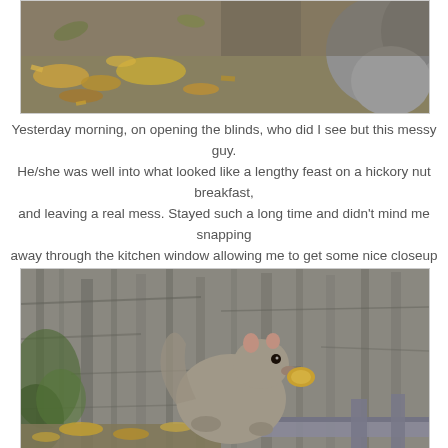[Figure (photo): Close-up photo of a squirrel eating hickory nuts on a ledge, scattered nut debris visible, partial squirrel body with grey fur]
Yesterday morning, on opening the blinds, who did I see but this messy guy. He/she was well into what looked like a lengthy feast on a hickory nut breakfast, and leaving a real mess. Stayed such a long time and didn't mind me snapping away through the kitchen window allowing me to get some nice closeup shots.
[Figure (photo): Squirrel sitting on a railing or ledge against a large tree trunk background, holding a nut, nut debris scattered around, green foliage visible in background]